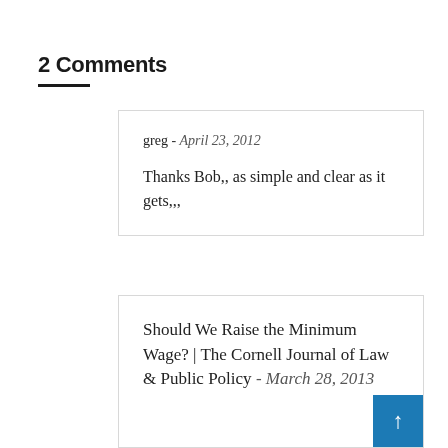2 Comments
greg - April 23, 2012

Thanks Bob,, as simple and clear as it gets,,,
Should We Raise the Minimum Wage? | The Cornell Journal of Law & Public Policy - March 28, 2013